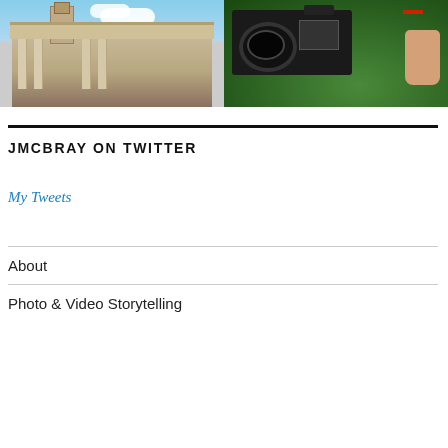[Figure (photo): Two side-by-side photos: left shows a building with columns and a clock tower against a blue sky; right shows a person holding a camera/video camera with green foliage in the background.]
JMCBRAY ON TWITTER
My Tweets
About
Photo & Video Storytelling